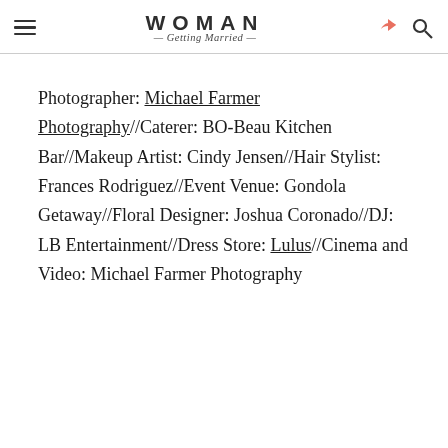WOMAN Getting Married
Photographer: Michael Farmer Photography//Caterer: BO-Beau Kitchen Bar//Makeup Artist: Cindy Jensen//Hair Stylist: Frances Rodriguez//Event Venue: Gondola Getaway//Floral Designer: Joshua Coronado//DJ: LB Entertainment//Dress Store: Lulus//Cinema and Video: Michael Farmer Photography